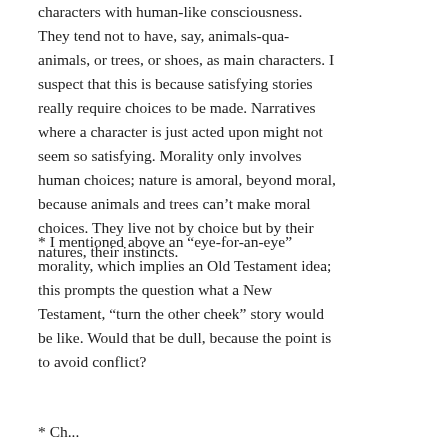characters with human-like consciousness. They tend not to have, say, animals-qua-animals, or trees, or shoes, as main characters. I suspect that this is because satisfying stories really require choices to be made. Narratives where a character is just acted upon might not seem so satisfying. Morality only involves human choices; nature is amoral, beyond moral, because animals and trees can't make moral choices. They live not by choice but by their natures, their instincts.
* I mentioned above an “eye-for-an-eye” morality, which implies an Old Testament idea; this prompts the question what a New Testament, “turn the other cheek” story would be like. Would that be dull, because the point is to avoid conflict?
* Characters. The...